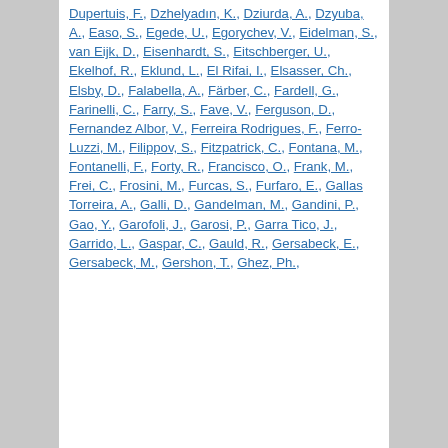Dupertuis, F., Dzhelyadın, K., Dziurda, A., Dzyuba, A., Easo, S., Egede, U., Egorychev, V., Eidelman, S., van Eijk, D., Eisenhardt, S., Eitschberger, U., Ekelhof, R., Eklund, L., El Rifai, I., Elsasser, Ch., Elsby, D., Falabella, A., Färber, C., Fardell, G., Farinelli, C., Farry, S., Fave, V., Ferguson, D., Fernandez Albor, V., Ferreira Rodrigues, F., Ferro-Luzzi, M., Filippov, S., Fitzpatrick, C., Fontana, M., Fontanelli, F., Forty, R., Francisco, O., Frank, M., Frei, C., Frosini, M., Furcas, S., Furfaro, E., Gallas Torreira, A., Galli, D., Gandelman, M., Gandini, P., Gao, Y., Garofoli, J., Garosi, P., Garra Tico, J., Garrido, L., Gaspar, C., Gauld, R., Gersabeck, E., Gersabeck, M., Gershon, T., Ghez, Ph.,